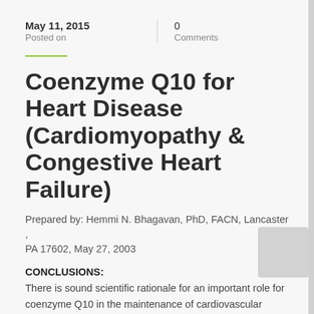May 11, 2015
Posted on
0
Comments
Coenzyme Q10 for Heart Disease (Cardiomyopathy & Congestive Heart Failure)
Prepared by: Hemmi N. Bhagavan, PhD, FACN, Lancaster , PA 17602, May 27, 2003
CONCLUSIONS:
There is sound scientific rationale for an important role for coenzyme Q10 in the maintenance of cardiovascular health in general and in the management of heart disease and in particular heart failure. Review of published literature in